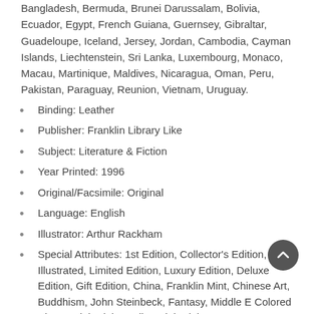Bangladesh, Bermuda, Brunei Darussalam, Bolivia, Ecuador, Egypt, French Guiana, Guernsey, Gibraltar, Guadeloupe, Iceland, Jersey, Jordan, Cambodia, Cayman Islands, Liechtenstein, Sri Lanka, Luxembourg, Monaco, Macau, Martinique, Maldives, Nicaragua, Oman, Peru, Pakistan, Paraguay, Reunion, Vietnam, Uruguay.
Binding: Leather
Publisher: Franklin Library Like
Subject: Literature & Fiction
Year Printed: 1996
Original/Facsimile: Original
Language: English
Illustrator: Arthur Rackham
Special Attributes: 1st Edition, Collector's Edition, Illustrated, Limited Edition, Luxury Edition, Deluxe Edition, Gift Edition, China, Franklin Mint, Chinese Art, Buddhism, John Steinbeck, Fantasy, Middle E... Colored Plates, Sinbad the Sailor, Sinbad the Voyager
Region: North America